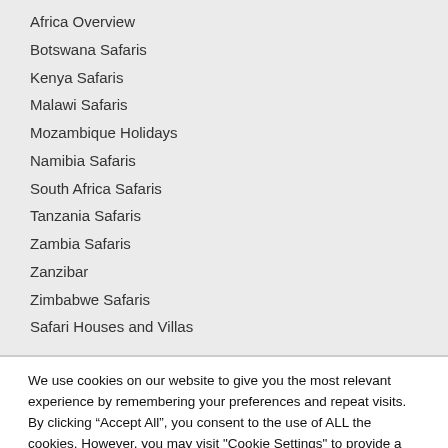Africa Overview
Botswana Safaris
Kenya Safaris
Malawi Safaris
Mozambique Holidays
Namibia Safaris
South Africa Safaris
Tanzania Safaris
Zambia Safaris
Zanzibar
Zimbabwe Safaris
Safari Houses and Villas
We use cookies on our website to give you the most relevant experience by remembering your preferences and repeat visits. By clicking “Accept All”, you consent to the use of ALL the cookies. However, you may visit "Cookie Settings" to provide a controlled consent.
Cookie Settings | Accept All